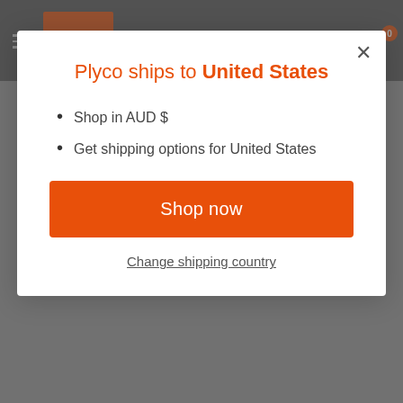[Figure (screenshot): Plyco website header with orange logo, hamburger menu, and icons for search, account, and cart (badge showing 0)]
Plyco ships to United States
Shop in AUD $
Get shipping options for United States
Shop now
Change shipping country